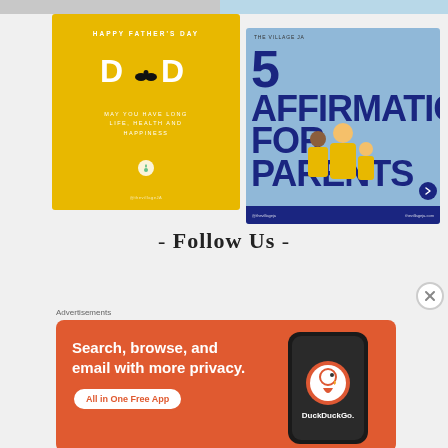[Figure (illustration): Top strip: partial social media image thumbnails]
[Figure (illustration): Father's Day social media card: yellow background with 'HAPPY FATHER'S DAY', 'DAD' with mustache, 'MAY YOU HAVE LONG LIFE, HEALTH AND HAPPINESS']
[Figure (illustration): 5 Affirmations for Parents social media card: light blue background with large dark blue text, family illustration, dark blue bottom bar]
- Follow Us -
[Figure (screenshot): DuckDuckGo advertisement: orange background with phone, text 'Search, browse, and email with more privacy. All in One Free App', DuckDuckGo logo]
Advertisements